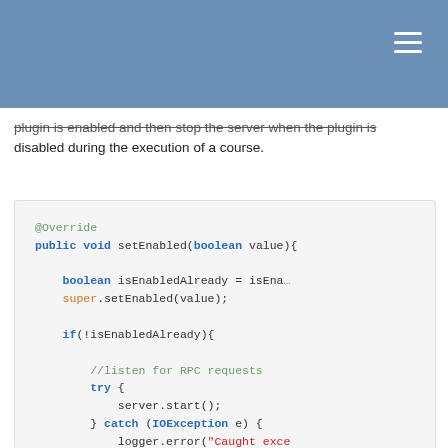plugin is enabled and then stop the server when the plugin is disabled during the execution of a course.
[Figure (screenshot): Java code block showing setEnabled method override with boolean check, server.start() in try-catch, and logger statements]